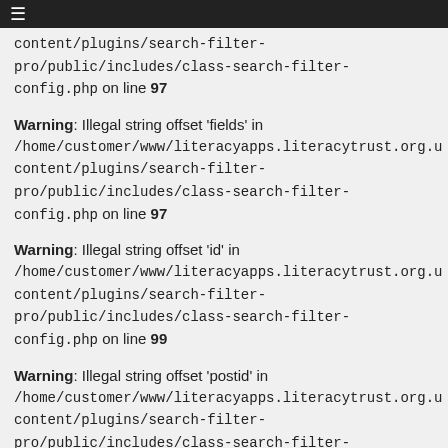≡
content/plugins/search-filter-pro/public/includes/class-search-filter-config.php on line 97
Warning: Illegal string offset 'fields' in /home/customer/www/literacyapps.literacytrust.org.uk/content/plugins/search-filter-pro/public/includes/class-search-filter-config.php on line 97
Warning: Illegal string offset 'id' in /home/customer/www/literacyapps.literacytrust.org.uk/content/plugins/search-filter-pro/public/includes/class-search-filter-config.php on line 99
Warning: Illegal string offset 'postid' in /home/customer/www/literacyapps.literacytrust.org.uk/content/plugins/search-filter-pro/public/includes/class-search-filter-config.php on line 100